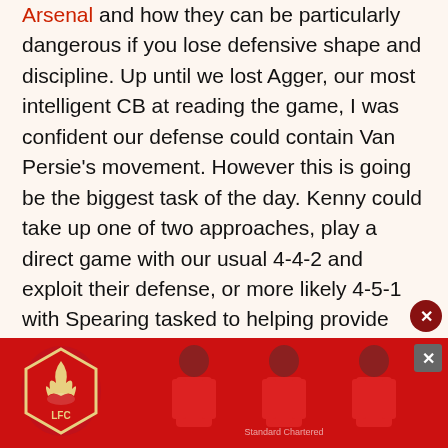Arsenal and how they can be particularly dangerous if you lose defensive shape and discipline. Up until we lost Agger, our most intelligent CB at reading the game, I was confident our defense could contain Van Persie's movement. However this is going be the biggest task of the day. Kenny could take up one of two approaches, play a direct game with our usual 4-4-2 and exploit their defense, or more likely 4-5-1 with Spearing tasked to helping provide defensive cover as we ensure we are not over run in midfield (and surrendering possession).
[Figure (infographic): Social sharing buttons: Facebook (blue circle), Twitter (light blue circle), WhatsApp (green circle), Email (red-orange circle)]
[Figure (photo): Liverpool FC advertisement banner with red background showing the LFC Liverbird crest/logo and three players in red Liverpool kits]